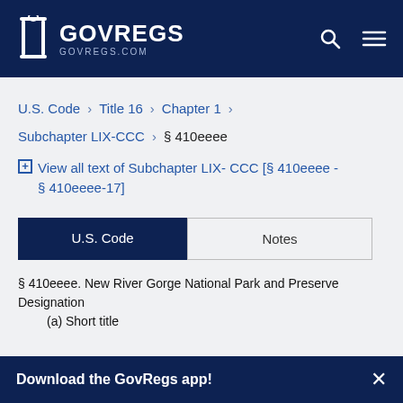GOVREGS GOVREGS.COM
U.S. Code > Title 16 > Chapter 1 >
Subchapter LIX-CCC > § 410eeee
⊞ View all text of Subchapter LIX- CCC [§ 410eeee - § 410eeee-17]
U.S. Code | Notes
§ 410eeee. New River Gorge National Park and Preserve Designation
    (a) Short title
Download the GovRegs app! ✕